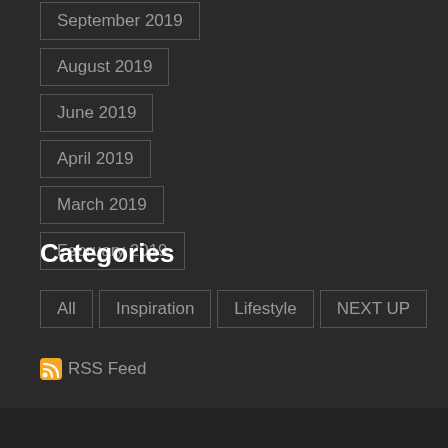September 2019
August 2019
June 2019
April 2019
March 2019
February 2019
Categories
All
Inspiration
Lifestyle
NEXT UP
RSS Feed